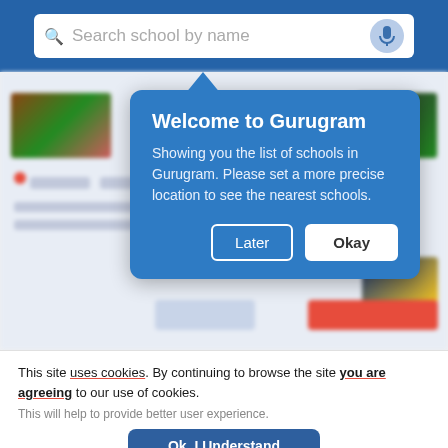[Figure (screenshot): Mobile app screenshot showing a school search interface with blue top bar containing a search box labeled 'Search school by name' and a microphone button. A blue tooltip popup says 'Welcome to Gurugram – Showing you the list of schools in Gurugram. Please set a more precise location to see the nearest schools.' with 'Later' and 'Okay' buttons. Background shows blurred school listing cards.]
This site uses cookies. By continuing to browse the site you are agreeing to our use of cookies.
This will help to provide better user experience.
Ok, I Understand